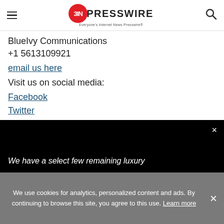EINPresswire — Everyone's Internet News Presswire
BlueIvy Communications
+1 5613109921
email us here
Visit us on social media:
Facebook
Twitter
LinkedIn
[Figure (screenshot): Black video banner with white italic text: 'We have a select few remaining luxury' and an × close button]
We use cookies for analytics, personalized content and ads. By continuing to browse this site, you agree to this use. Learn more